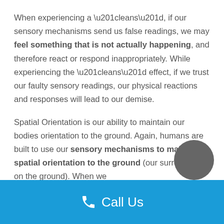When experiencing a “leans”, if our sensory mechanisms send us false readings, we may feel something that is not actually happening, and therefore react or respond inappropriately. While experiencing the “leans” effect, if we trust our faulty sensory readings, our physical reactions and responses will lead to our demise.
Spatial Orientation is our ability to maintain our bodies orientation to the ground. Again, humans are built to use our sensory mechanisms to maintain spatial orientation to the ground (our surroundings on the ground). When we
Call Us